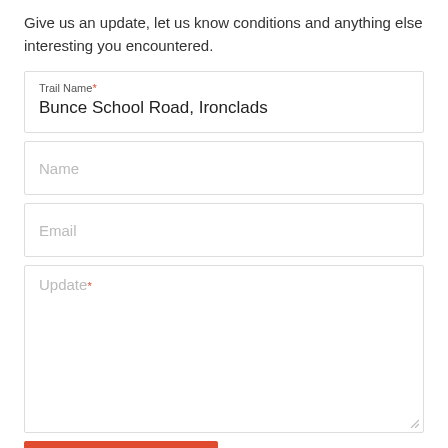Give us an update, let us know conditions and anything else interesting you encountered.
Trail Name * Bunce School Road, Ironclads
Name
Email
Update *